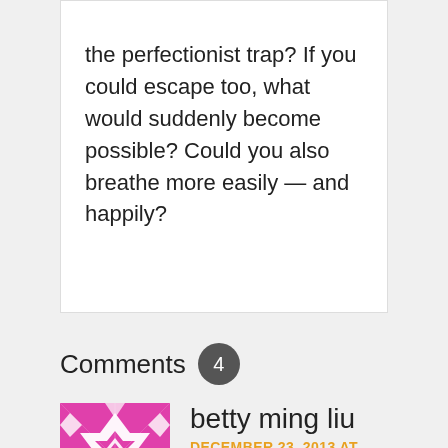the perfectionist trap? If you could escape too, what would suddenly become possible? Could you also breathe more easily — and happily?
Comments 4
[Figure (illustration): Pink and white geometric quilt-pattern avatar for user betty ming liu]
post author
betty ming liu
DECEMBER 23, 2013 AT 10:01 AM
A friend of mine just read this post and said that she's not a perfectionist but a procrastinator. Hmmm, I'm both. I think I